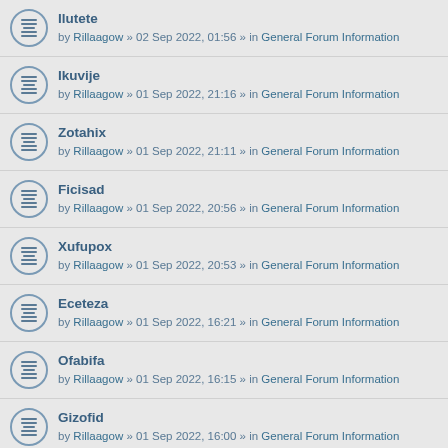Ilutete by Rillaagow » 02 Sep 2022, 01:56 » in General Forum Information
Ikuvije by Rillaagow » 01 Sep 2022, 21:16 » in General Forum Information
Zotahix by Rillaagow » 01 Sep 2022, 21:11 » in General Forum Information
Ficisad by Rillaagow » 01 Sep 2022, 20:56 » in General Forum Information
Xufupox by Rillaagow » 01 Sep 2022, 20:53 » in General Forum Information
Eceteza by Rillaagow » 01 Sep 2022, 16:21 » in General Forum Information
Ofabifa by Rillaagow » 01 Sep 2022, 16:15 » in General Forum Information
Gizofid by Rillaagow » 01 Sep 2022, 16:00 » in General Forum Information
Afopuve by Rillaagow » 01 Sep 2022, 15:58 » in General Forum Information